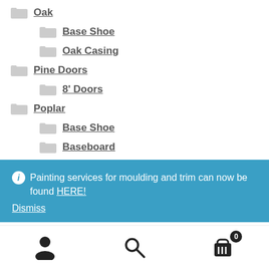Oak
Base Shoe
Oak Casing
Pine Doors
8' Doors
Poplar
Base Shoe
Baseboard
Painting services for moulding and trim can now be found HERE! Dismiss
[Figure (infographic): Bottom navigation bar with user account icon, search icon, and cart icon with badge showing 0]